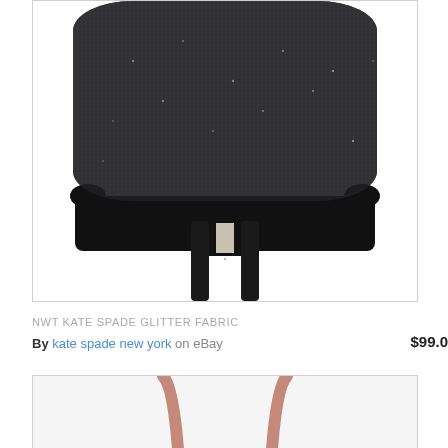[Figure (photo): Top portion of a Kate Spade black glitter fabric handbag, showing the top of the bag with sparkly dark fabric and black leather trim, photographed against a white background with a thin border.]
NWT KATE SPADE GLITTER FABRIC
By kate spade new york  on eBay    $99.0
[Figure (photo): Bottom portion of a handbag showing two handle straps in a rose/copper color against a white background, cropped to show only the lower part of the bag handles.]